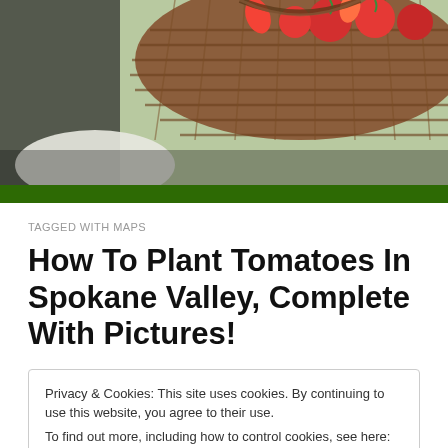[Figure (photo): Top portion of a wicker basket filled with tomatoes and vegetables, photographed outdoors in sunlight]
TAGGED WITH MAPS
How To Plant Tomatoes In Spokane Valley, Complete With Pictures!
Privacy & Cookies: This site uses cookies. By continuing to use this website, you agree to their use.
To find out more, including how to control cookies, see here: Cookie Policy
Close and accept